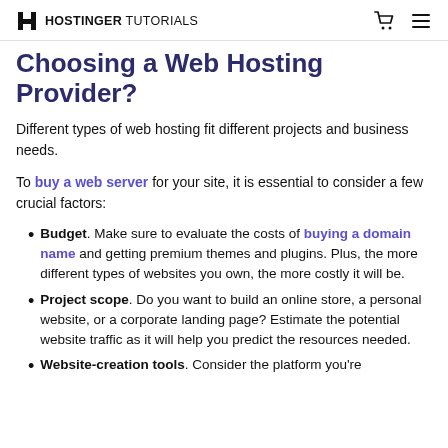HOSTINGER TUTORIALS
Choosing a Web Hosting Provider?
Different types of web hosting fit different projects and business needs.
To buy a web server for your site, it is essential to consider a few crucial factors:
Budget. Make sure to evaluate the costs of buying a domain name and getting premium themes and plugins. Plus, the more different types of websites you own, the more costly it will be.
Project scope. Do you want to build an online store, a personal website, or a corporate landing page? Estimate the potential website traffic as it will help you predict the resources needed.
Website-creation tools. Consider the platform you're